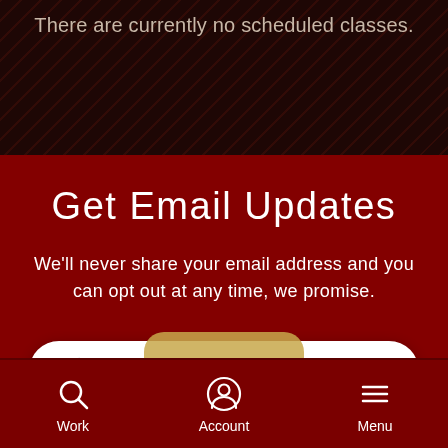There are currently no scheduled classes.
Get Email Updates
We'll never share your email address and you can opt out at any time, we promise.
Enter Email Address
Work   Account   Menu